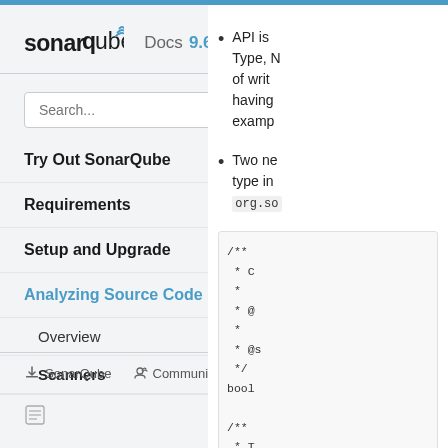[Figure (logo): SonarQube logo with wave mark, followed by 'Docs 9.6' label]
Search...
Try Out SonarQube
Requirements
Setup and Upgrade
Analyzing Source Code (active, expanded)
Overview
Scanners
SonarQube   Community   (Twitter icon)
API is... Type, N... of writ... having... examp...
Two ne... type in... org.so...
/** * C... * * @... * * @s... */ bool... /** * T...